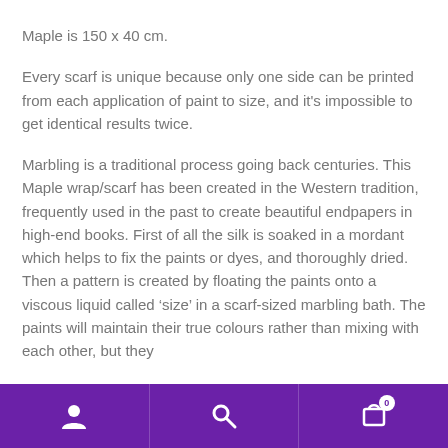Maple is 150 x 40 cm.
Every scarf is unique because only one side can be printed from each application of paint to size, and it's impossible to get identical results twice.
Marbling is a traditional process going back centuries. This Maple wrap/scarf has been created in the Western tradition, frequently used in the past to create beautiful endpapers in high-end books. First of all the silk is soaked in a mordant which helps to fix the paints or dyes, and thoroughly dried. Then a pattern is created by floating the paints onto a viscous liquid called ‘size’ in a scarf-sized marbling bath. The paints will maintain their true colours rather than mixing with each other, but they
user | search | cart (0)